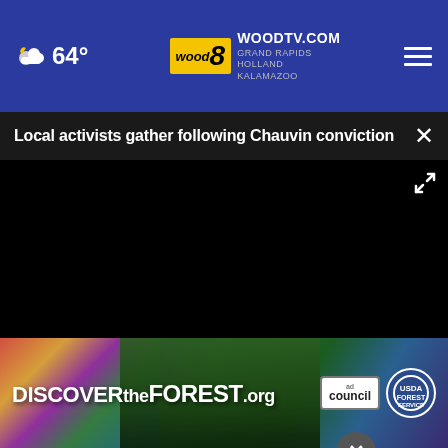64° | WOODTV.COM GRAND RAPIDS HOLLAND KALAMAZOO | wood 8
Local activists gather following Chauvin conviction
[Figure (screenshot): Black video player area with play button, mute button, and fullscreen expand icon on the bottom control bar]
of the outcome in the trial. The group is continuing calls f... was at a s...
[Figure (infographic): DISCOVERtheFOREST.org advertisement banner with colorful forest imagery, ad council logo, and US Forest Service badge]